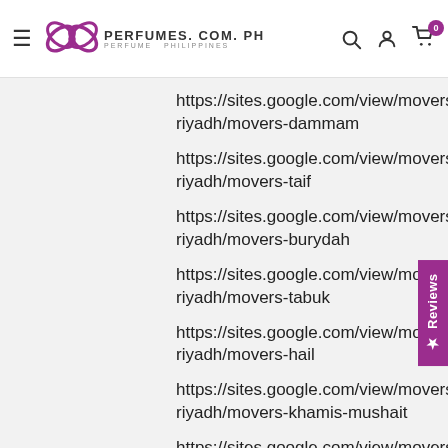PERFUMES.COM.PH — Perfume Philippines
https://sites.google.com/view/movers-riyadh/movers-dammam
https://sites.google.com/view/movers-riyadh/movers-taif
https://sites.google.com/view/movers-riyadh/movers-burydah
https://sites.google.com/view/movers-riyadh/movers-tabuk
https://sites.google.com/view/movers-riyadh/movers-hail
https://sites.google.com/view/movers-riyadh/movers-khamis-mushait
https://sites.google.com/view/movers-riyadh/movers-rabigh